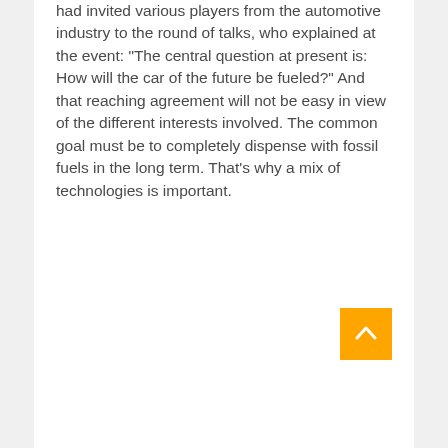had invited various players from the automotive industry to the round of talks, who explained at the event: "The central question at present is: How will the car of the future be fueled?" And that reaching agreement will not be easy in view of the different interests involved. The common goal must be to completely dispense with fossil fuels in the long term. That's why a mix of technologies is important.
[Figure (other): Orange/amber square button with a white upward-pointing chevron arrow, used as a scroll-to-top navigation element.]